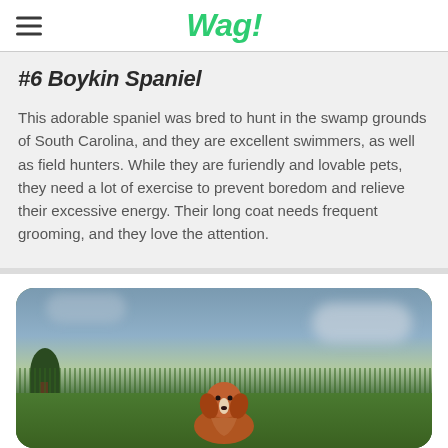Wag!
#6 Boykin Spaniel
This adorable spaniel was bred to hunt in the swamp grounds of South Carolina, and they are excellent swimmers, as well as field hunters. While they are furiendly and lovable pets, they need a lot of exercise to prevent boredom and relieve their excessive energy. Their long coat needs frequent grooming, and they love the attention.
[Figure (photo): A Boykin Spaniel dog sitting in a green grass field with a cloudy sky background]